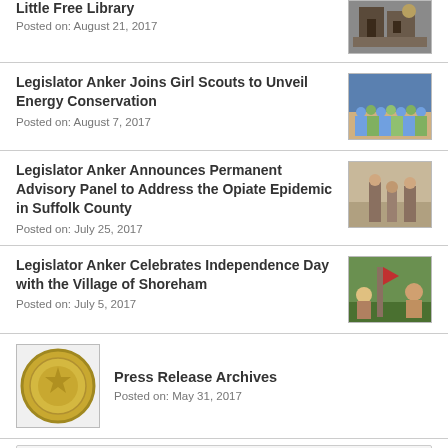Little Free Library
Posted on: August 21, 2017
Legislator Anker Joins Girl Scouts to Unveil Energy Conservation
Posted on: August 7, 2017
Legislator Anker Announces Permanent Advisory Panel to Address the Opiate Epidemic in Suffolk County
Posted on: July 25, 2017
Legislator Anker Celebrates Independence Day with the Village of Shoreham
Posted on: July 5, 2017
Press Release Archives
Posted on: May 31, 2017